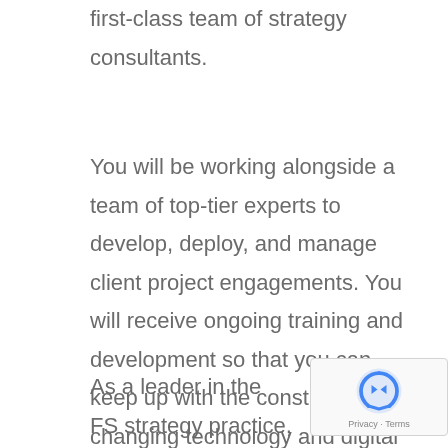first-class team of strategy consultants.
You will be working alongside a team of top-tier experts to develop, deploy, and manage client project engagements. You will receive ongoing training and development so that you can keep up with the constantly changing technology and digital transformation landscape, as required.
As a leader in the FS strategy practice, you will have to combine strong problem solving and team